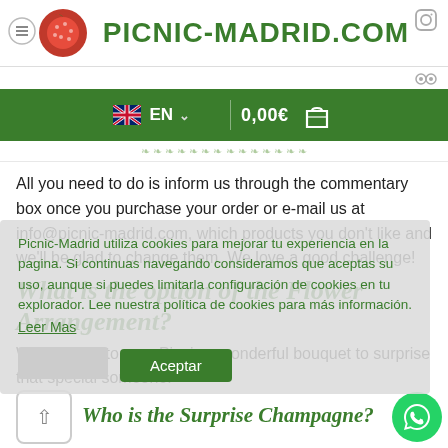Picnic-Madrid.com
EN  0,00€
All you need to do is inform us through the commentary box once you purchase your order or e-mail us at info@picnic-madrid.com, which products you don't like and we'll be glad to change them. We love a good challenge!
Picnic-Madrid utiliza cookies para mejorar tu experiencia en la pagina. Si continuas navegando consideramos que aceptas su uso, aunque si puedes limitarla configuración de cookies en tu explorador. Lee nuestra política de cookies para más información. Leer Mas Aceptar
What is the option of the Flower Arrangement?
We can add to your Picnic a wonderful bouquet to surprise that special someone.
Who is the Surprise Champagne?